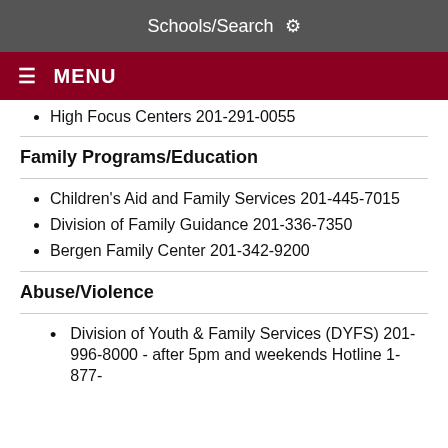Schools/Search ⚙
☰ MENU
High Focus Centers 201-291-0055
Family Programs/Education
Children's Aid and Family Services 201-445-7015
Division of Family Guidance 201-336-7350
Bergen Family Center 201-342-9200
Abuse/Violence
Division of Youth & Family Services (DYFS) 201-996-8000 - after 5pm and weekends Hotline 1-877-